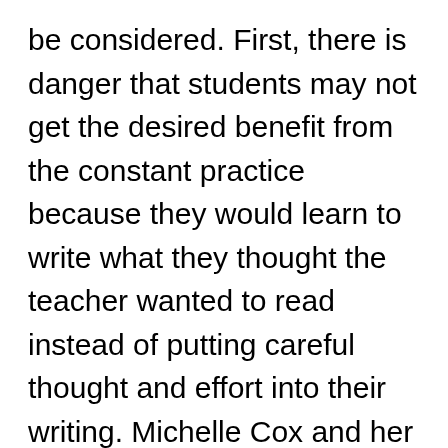be considered. First, there is danger that students may not get the desired benefit from the constant practice because they would learn to write what they thought the teacher wanted to read instead of putting careful thought and effort into their writing. Michelle Cox and her collaborators recognize the danger of this student mentality when they observe that, “students may